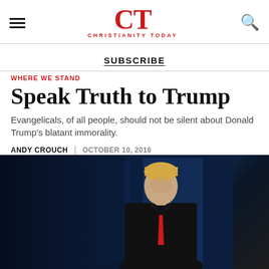Christianity Today
SUBSCRIBE
WHERE WE STAND
Speak Truth to Trump
Evangelicals, of all people, should not be silent about Donald Trump's blatant immorality.
ANDY CROUCH | OCTOBER 10, 2016
[Figure (photo): A man in a dark suit with a red tie, photographed against a dark blue background, looking downward. The photo appears to show Donald Trump at a debate or formal event.]